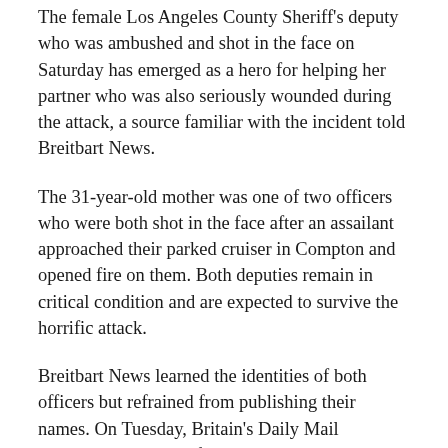The female Los Angeles County Sheriff's deputy who was ambushed and shot in the face on Saturday has emerged as a hero for helping her partner who was also seriously wounded during the attack, a source familiar with the incident told Breitbart News.
The 31-year-old mother was one of two officers who were both shot in the face after an assailant approached their parked cruiser in Compton and opened fire on them. Both deputies remain in critical condition and are expected to survive the horrific attack.
Breitbart News learned the identities of both officers but refrained from publishing their names. On Tuesday, Britain's Daily Mail published the name of Claudia Apolinar, reporting she is a former librarian who had graduated the L.A. Police Academy only one year ago.